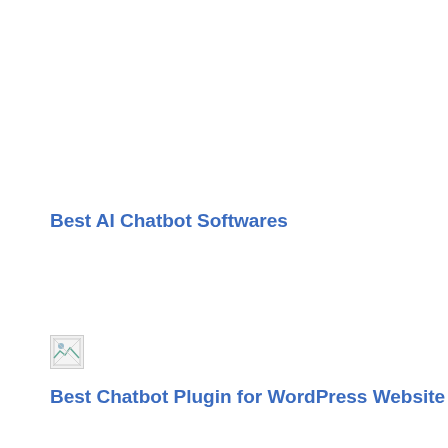Best AI Chatbot Softwares
[Figure (other): Broken/unloaded image placeholder icon]
Best Chatbot Plugin for WordPress Website